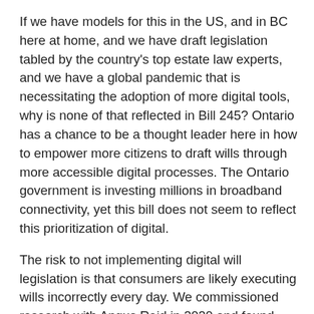If we have models for this in the US, and in BC here at home, and we have draft legislation tabled by the country's top estate law experts, and we have a global pandemic that is necessitating the adoption of more digital tools, why is none of that reflected in Bill 245? Ontario has a chance to be a thought leader here in how to empower more citizens to draft wills through more accessible digital processes. The Ontario government is investing millions in broadband connectivity, yet this bill does not seem to reflect this prioritization of digital.
The risk to not implementing digital will legislation is that consumers are likely executing wills incorrectly every day. We commissioned research with Angus Reid in 2020 and found 84% of Ontarians believe it's legal to sign a will online, and 92% think it's legal to store a will online. Every day, I talk to customers asking if they can DocuSign their wills, and for every person I say no to, I know there are others who are not asking the question; they're just doing it anyway. Is that